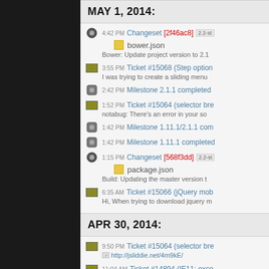MAY 1, 2014:
4:42 PM Changeset [2f46ac8] 2.2-st
bower.json
Bower: Update project version to 2.1
3:55 PM Ticket #15068 (Step option
I was trying to create a sliding menu
2:42 PM Milestone 2.1.1 completed
1:52 PM Ticket #15064 (selector bre
notabug: There's an error in your so
1:42 PM Milestone 1.11.1/2.1.1 com
1:42 PM Milestone 1.11.1 completed
1:15 PM Changeset [568f3dd] 2.2-st
package.json
Build: Updating the master version t
6:35 AM Ticket #15066 (jQuery mob
Hi, When trying to download jquery m
APR 30, 2014:
9:50 PM Ticket #15064 (selector bre
http://jsliddie.net/4m9kE/
11:04 AM Ticket #14894 (IE11: exce
fixed: Data: Work around IE11 bug